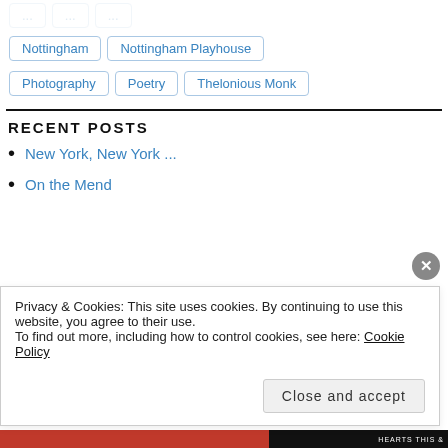Nottingham
Nottingham Playhouse
Photography
Poetry
Thelonious Monk
RECENT POSTS
New York, New York ...
On the Mend
Privacy & Cookies: This site uses cookies. By continuing to use this website, you agree to their use.
To find out more, including how to control cookies, see here: Cookie Policy